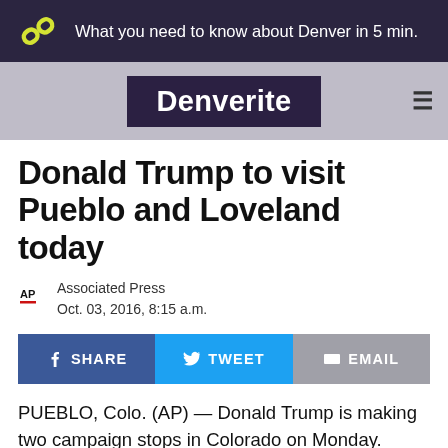What you need to know about Denver in 5 min.
[Figure (logo): Denverite logo with chain link icon and site wordmark]
Donald Trump to visit Pueblo and Loveland today
Associated Press
Oct. 03, 2016, 8:15 a.m.
SHARE   TWEET   EMAIL
PUEBLO, Colo. (AP) — Donald Trump is making two campaign stops in Colorado on Monday.